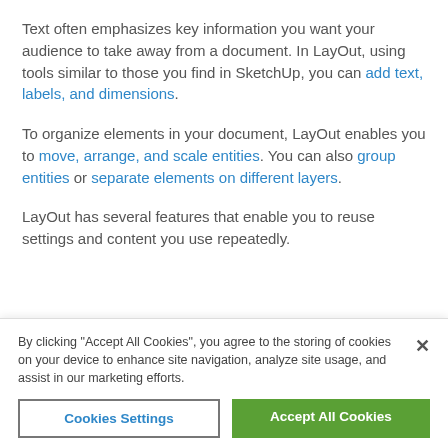Text often emphasizes key information you want your audience to take away from a document. In LayOut, using tools similar to those you find in SketchUp, you can add text, labels, and dimensions.
To organize elements in your document, LayOut enables you to move, arrange, and scale entities. You can also group entities or separate elements on different layers.
LayOut has several features that enable you to reuse settings and content you use repeatedly.
By clicking "Accept All Cookies", you agree to the storing of cookies on your device to enhance site navigation, analyze site usage, and assist in our marketing efforts.